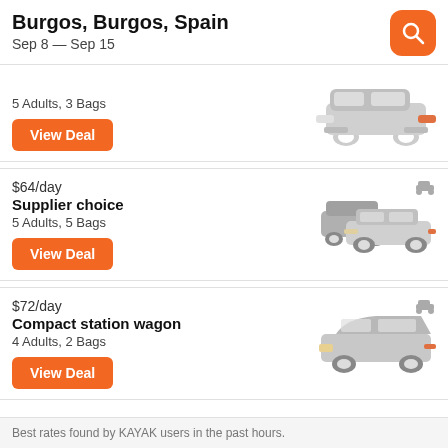Burgos, Burgos, Spain
Sep 8 — Sep 15
5 Adults, 3 Bags
$64/day
Supplier choice
5 Adults, 5 Bags
$72/day
Compact station wagon
4 Adults, 2 Bags
Best rates found by KAYAK users in the past hours.